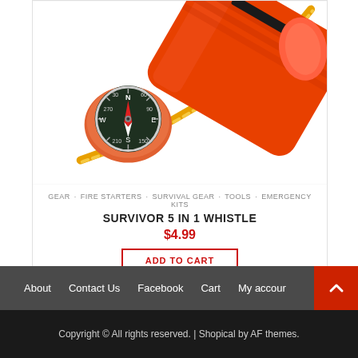[Figure (photo): Close-up photo of an orange survival multi-tool with a compass and orange rope cord on white background]
GEAR · FIRE STARTERS · SURVIVAL GEAR · TOOLS · EMERGENCY KITS
SURVIVOR 5 IN 1 WHISTLE
$4.99
ADD TO CART
About   Contact Us   Facebook   Cart   My account
Copyright © All rights reserved. | Shopical by AF themes.